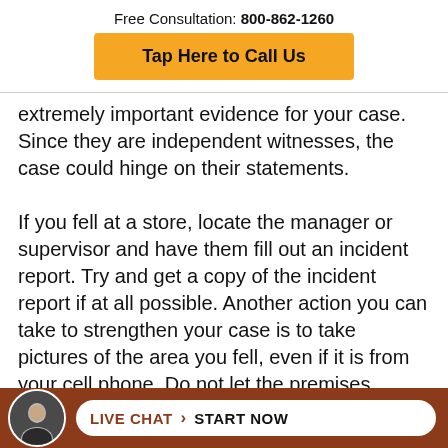Free Consultation: 800-862-1260
Tap Here to Call Us
extremely important evidence for your case. Since they are independent witnesses, the case could hinge on their statements.

If you fell at a store, locate the manager or supervisor and have them fill out an incident report. Try and get a copy of the incident report if at all possible. Another action you can take to strengthen your case is to take pictures of the area you fell, even if it is from your cell phone. Do not let the premises owner try and chan… …fall.
[Figure (infographic): Bottom bar with terracotta background showing a circular avatar photo of a man, and a white pill-shaped button with 'LIVE CHAT > START NOW' text in terracotta/black]